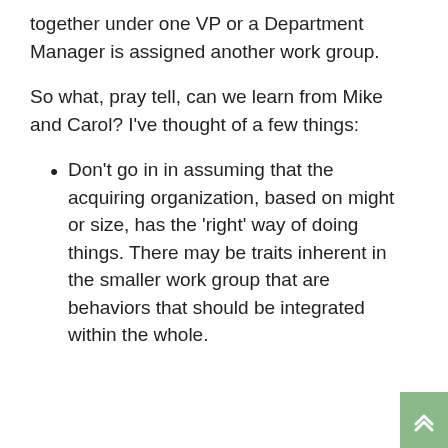together under one VP or a Department Manager is assigned another work group.
So what, pray tell, can we learn from Mike and Carol? I've thought of a few things:
Don't go in in assuming that the acquiring organization, based on might or size, has the 'right' way of doing things. There may be traits inherent in the smaller work group that are behaviors that should be integrated within the whole.